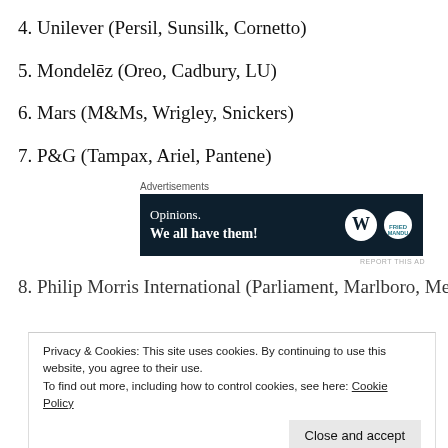4. Unilever (Persil, Sunsilk, Cornetto)
5. Mondelēz (Oreo, Cadbury, LU)
6. Mars (M&Ms, Wrigley, Snickers)
7. P&G (Tampax, Ariel, Pantene)
[Figure (other): Advertisement banner: dark navy background with text 'Opinions. We all have them!' and WordPress and Fried Mandu logos]
8. Philip Morris International (Parliament, Marlboro, Merit)
Privacy & Cookies: This site uses cookies. By continuing to use this website, you agree to their use. To find out more, including how to control cookies, see here: Cookie Policy
Close and accept